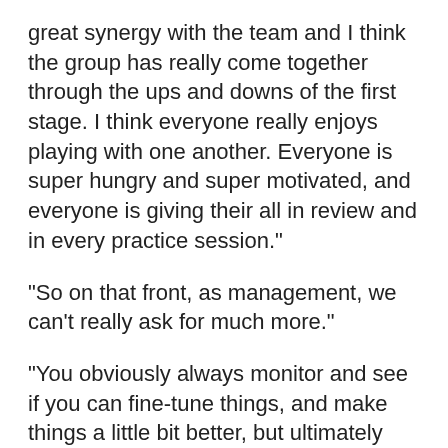great synergy with the team and I think the group has really come together through the ups and downs of the first stage. I think everyone really enjoys playing with one another. Everyone is super hungry and super motivated, and everyone is giving their all in review and in every practice session."
"So on that front, as management, we can't really ask for much more."
"You obviously always monitor and see if you can fine-tune things, and make things a little bit better, but ultimately we're in a pretty good groove. It is a little disappointing to go 2-4, certainly in the London match and in the Toronto match, we really let those matches slip through our fingers. In the London match, we had a really strong map one, we all but won map two but we really let that one slip away. It should have been a really easy map two as well, and you get the 2-0 lead. Obviously, there have been some reverse sweeps here and there, but we